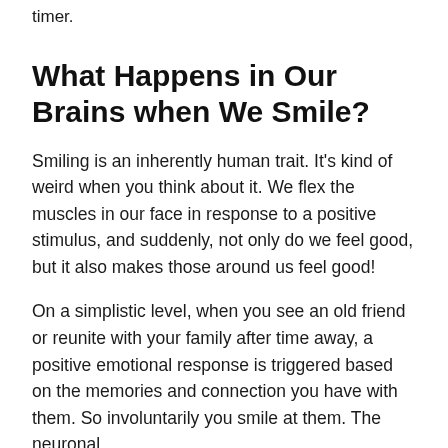timer.
What Happens in Our Brains when We Smile?
Smiling is an inherently human trait. It’s kind of weird when you think about it. We flex the muscles in our face in response to a positive stimulus, and suddenly, not only do we feel good, but it also makes those around us feel good!
On a simplistic level, when you see an old friend or reunite with your family after time away, a positive emotional response is triggered based on the memories and connection you have with them. So involuntarily you smile at them. The neuronal